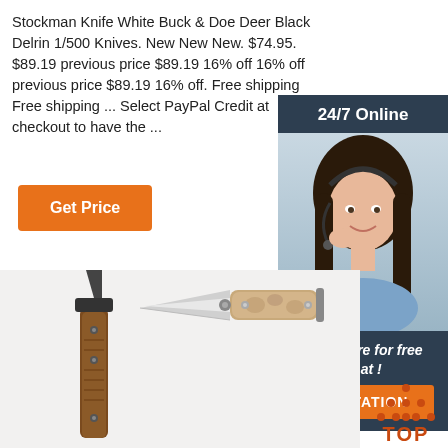Stockman Knife White Buck & Doe Deer Black Delrin 1/500 Knives. New New New. $74.95. $89.19 previous price $89.19 16% off 16% off previous price $89.19 16% off. Free shipping Free shipping ... Select PayPal Credit at checkout to have the ...
[Figure (other): Orange 'Get Price' button]
[Figure (other): Sidebar with '24/7 Online' header, photo of a female customer service agent with headset, 'Click here for free chat!' text, and an orange 'QUOTATION' button on dark navy background]
[Figure (photo): Two folding knives photographed at the bottom of the page — one with a dark/black blade and brown handle (left), one with a silver blade and burl wood handle (right)]
[Figure (logo): Orange 'TOP' badge with upward-pointing triangular dots icon in orange]